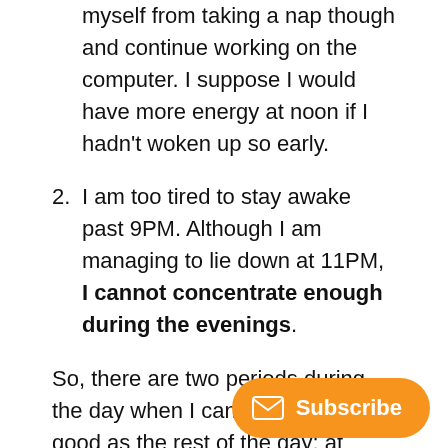myself from taking a nap though and continue working on the computer. I suppose I would have more energy at noon if I hadn't woken up so early.
2. I am too tired to stay awake past 9PM. Although I am managing to lie down at 11PM, I cannot concentrate enough during the evenings.
So, there are two periods during the day when I cannot perform as good as the rest of the day: at noon and late at night. Anna suggests taking a nap. However, when there's a family around the house, it's not so easy to just "take a nap" whenever you feel so. In addition, home requires quietness. And when the house is